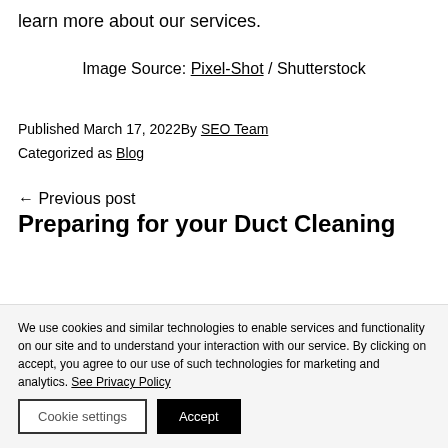learn more about our services.
Image Source: Pixel-Shot / Shutterstock
Published March 17, 2022By SEO Team
Categorized as Blog
← Previous post
Preparing for your Duct Cleaning
We use cookies and similar technologies to enable services and functionality on our site and to understand your interaction with our service. By clicking on accept, you agree to our use of such technologies for marketing and analytics. See Privacy Policy